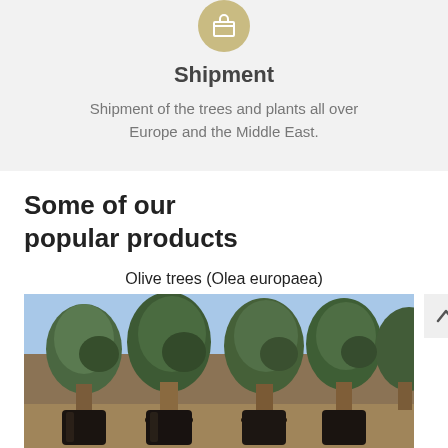[Figure (illustration): Icon of a shipping/delivery box on a circular olive/gold background]
Shipment
Shipment of the trees and plants all over Europe and the Middle East.
Some of our popular products
Olive trees (Olea europaea)
[Figure (photo): Photograph of multiple large olive trees in black pots arranged in a nursery or orchard, outdoors under a blue sky.]